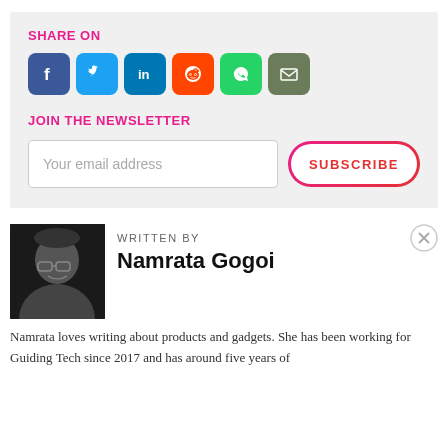SHARE ON
[Figure (infographic): Social share buttons: Facebook, Twitter, LinkedIn, Reddit, WhatsApp, Email]
JOIN THE NEWSLETTER
[Figure (infographic): Email input field with placeholder 'Your email address' and a SUBSCRIBE button with gradient border]
[Figure (photo): Black and white photo of Namrata Gogoi]
WRITTEN BY
Namrata Gogoi
Namrata loves writing about products and gadgets. She has been working for Guiding Tech since 2017 and has around five years of